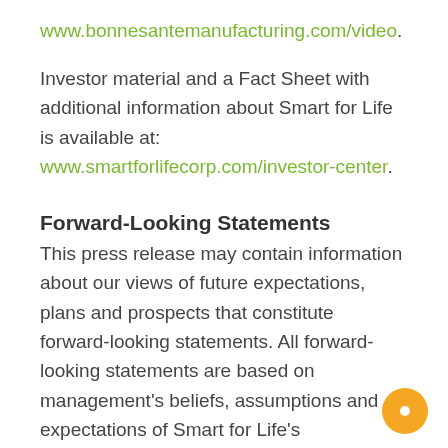www.bonnesantemanufacturing.com/video.
Investor material and a Fact Sheet with additional information about Smart for Life is available at: www.smartforlifecorp.com/investor-center.
Forward-Looking Statements
This press release may contain information about our views of future expectations, plans and prospects that constitute forward-looking statements. All forward-looking statements are based on management's beliefs, assumptions and expectations of Smart for Life's